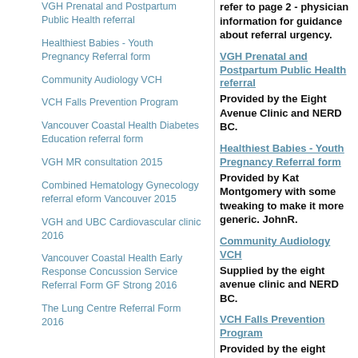VGH Prenatal and Postpartum Public Health referral
Healthiest Babies - Youth Pregnancy Referral form
Community Audiology VCH
VCH Falls Prevention Program
Vancouver Coastal Health Diabetes Education referral form
VGH MR consultation 2015
Combined Hematology Gynecology referral eform Vancouver 2015
VGH and UBC Cardiovascular clinic 2016
Vancouver Coastal Health Early Response Concussion Service Referral Form GF Strong 2016
The Lung Centre Referral Form 2016
refer to page 2 - physician information for guidance about referral urgency.
VGH Prenatal and Postpartum Public Health referral - Provided by the Eight Avenue Clinic and NERD BC.
Healthiest Babies - Youth Pregnancy Referral form - Provided by Kat Montgomery with some tweaking to make it more generic. JohnR.
Community Audiology VCH - Supplied by the eight avenue clinic and NERD BC.
VCH Falls Prevention Program - Provided by the eight avenue clinic and NERD BC
Vancouver Coastal Health Diabetes Education referral form - Provided by John Yap November 2014
VGH MR consultation 2015 - MR ( MRI ) referral form updated by NERD BC.